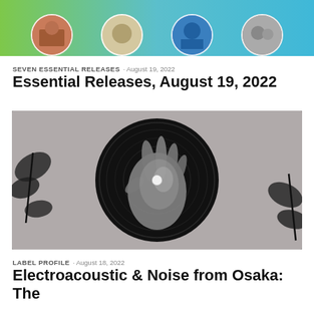[Figure (photo): Top banner image showing a row of circular artist/album photos on a green-to-teal gradient background, partially cropped at the top of the page.]
SEVEN ESSENTIAL RELEASES · August 19, 2022
Essential Releases, August 19, 2022
[Figure (photo): Black and white photograph of a hand holding a vinyl record from behind, with the hole of the record centered on the palm. Plant leaves are visible on the sides.]
LABEL PROFILE · August 18, 2022
Electroacoustic & Noise from Osaka: The